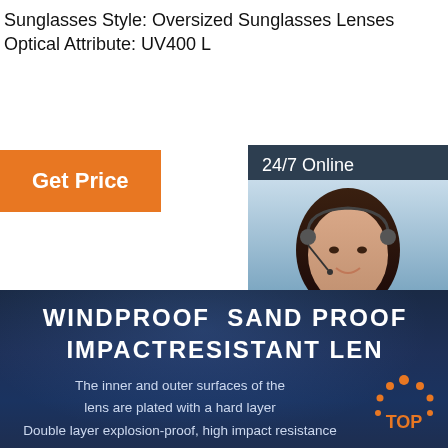Sunglasses Style: Oversized Sunglasses Lenses
Optical Attribute: UV400 L
[Figure (other): Orange 'Get Price' button]
[Figure (other): 24/7 Online chat panel with customer service agent photo, 'Click here for free chat!' text, and orange QUOTATION button]
[Figure (other): Dark blue section with white bold text 'WINDPROOF SAND PROOF IMPACTRESISTANT LEN' and description text about lens coating, plus TOP logo]
The inner and outer surfaces of the lens are plated with a hard layer
Double layer explosion-proof, high impact resistance